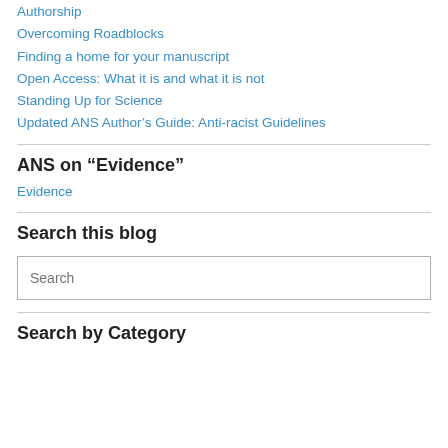Authorship
Overcoming Roadblocks
Finding a home for your manuscript
Open Access: What it is and what it is not
Standing Up for Science
Updated ANS Author’s Guide: Anti-racist Guidelines
ANS on “Evidence”
Evidence
Search this blog
Search by Category